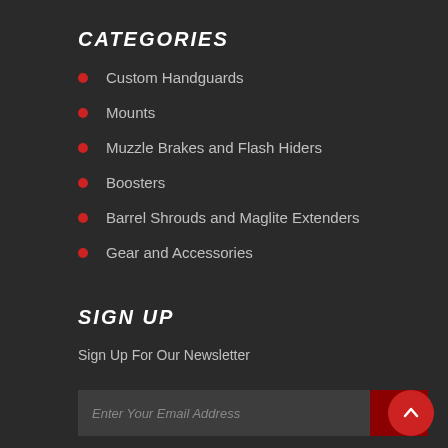CATEGORIES
Custom Handguards
Mounts
Muzzle Brakes and Flash Hiders
Boosters
Barrel Shrouds and Maglite Extenders
Gear and Accessories
SIGN UP
Sign Up For Our Newsletter